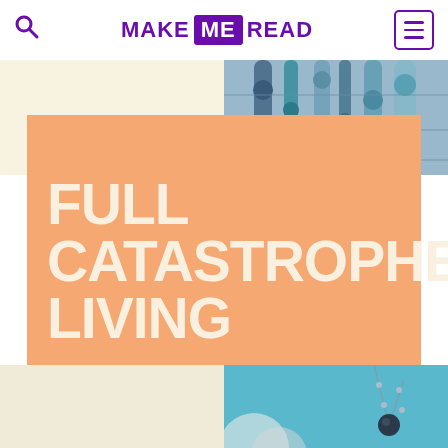MAKE ME READ
[Figure (screenshot): Website screenshot showing MAKE ME READ header with search icon and menu, decorative craft/bead images in top and bottom corners, and a large orange block with book title 'FULL CATASTROPHE LIVING' in bold cream letters]
FULL CATASTROPHE LIVING